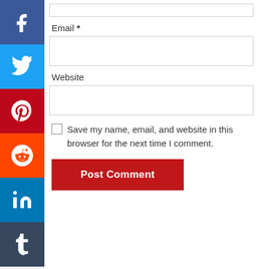[Figure (other): Social media share buttons sidebar: Facebook (blue), Twitter (light blue), Pinterest (red), Reddit (orange), LinkedIn (blue), Tumblr (dark navy)]
Email *
Website
Save my name, email, and website in this browser for the next time I comment.
Post Comment